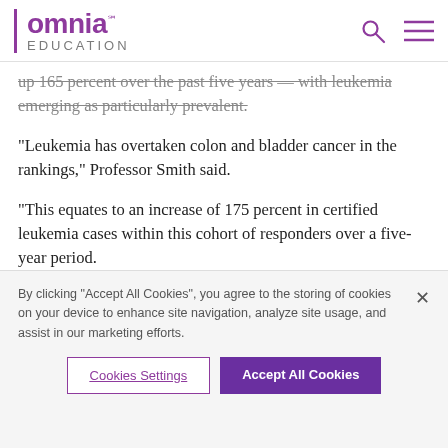omnia℠ EDUCATION
up 165 percent over the past five years — with leukemia emerging as particularly prevalent.
“Leukemia has overtaken colon and bladder cancer in the rankings,” Professor Smith said.
“This equates to an increase of 175 percent in certified leukemia cases within this cohort of responders over a five-year period.
“It’s not surprising: there is a proven link between
By clicking “Accept All Cookies”, you agree to the storing of cookies on your device to enhance site navigation, analyze site usage, and assist in our marketing efforts.
Cookies Settings
Accept All Cookies